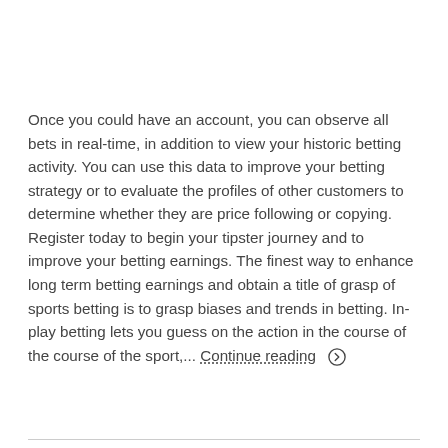Once you could have an account, you can observe all bets in real-time, in addition to view your historic betting activity. You can use this data to improve your betting strategy or to evaluate the profiles of other customers to determine whether they are price following or copying. Register today to begin your tipster journey and to improve your betting earnings. The finest way to enhance long term betting earnings and obtain a title of grasp of sports betting is to grasp biases and trends in betting. In-play betting lets you guess on the action in the course of the course of the sport,... Continue reading ➔